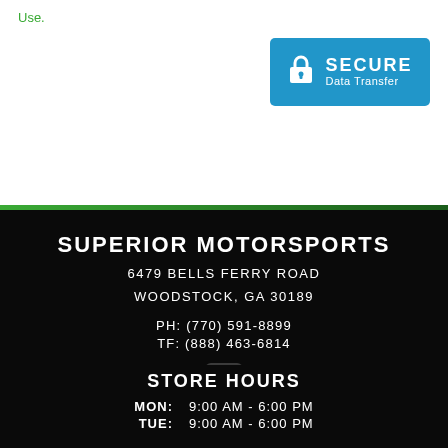Use.
[Figure (infographic): Secure Data Transfer badge — blue rounded rectangle with lock icon and text 'SECURE Data Transfer']
SUPERIOR MOTORSPORTS
6479 BELLS FERRY ROAD
WOODSTOCK, GA 30189
PH: (770) 591-8899
TF: (888) 463-6814
[Figure (logo): Facebook logo icon (white 'f' on dark square with rounded corners)]
STORE HOURS
MON: 9:00 AM - 6:00 PM
TUE: 9:00 AM - 6:00 PM